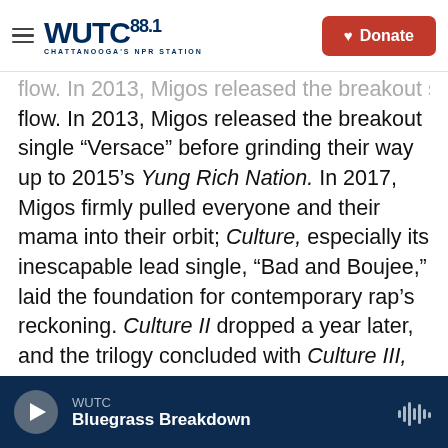WUTC 88.1 CHATTANOOGA'S NPR STATION | Donate
flow. In 2013, Migos released the breakout single "Versace" before grinding their way up to 2015's Yung Rich Nation. In 2017, Migos firmly pulled everyone and their mama into their orbit; Culture, especially its inescapable lead single, "Bad and Boujee," laid the foundation for contemporary rap's reckoning. Culture II dropped a year later, and the trilogy concluded with Culture III, released this past June. Legendary producer collective 1500 or Nothin' bring the best part of the new album to life in this long-waited Tiny Desk, as Larrance "Rance" Dopson, Lamar "My Guy Mars" Edwards, Quintin "Q"
WUTC | Bluegrass Breakdown